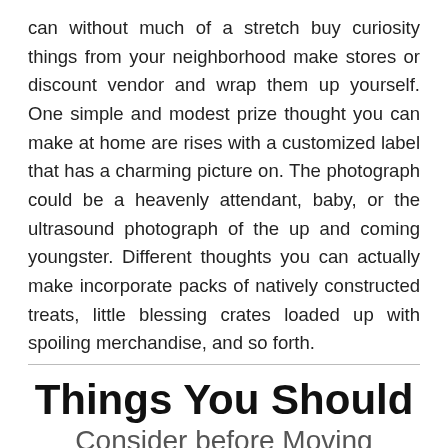can without much of a stretch buy curiosity things from your neighborhood make stores or discount vendor and wrap them up yourself. One simple and modest prize thought you can make at home are rises with a customized label that has a charming picture on. The photograph could be a heavenly attendant, baby, or the ultrasound photograph of the up and coming youngster. Different thoughts you can actually make incorporate packs of natively constructed treats, little blessing crates loaded up with spoiling merchandise, and so forth.
Things You Should